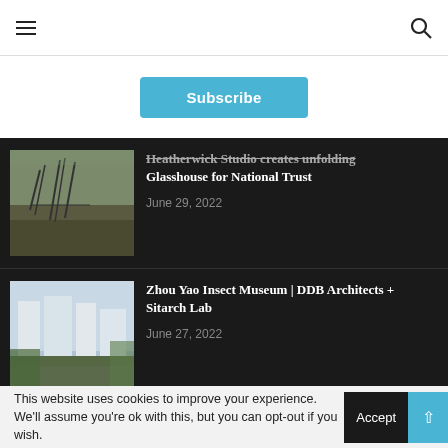≡  🔍
Subscribe
Heatherwick Studio creates unfolding Glasshouse for National Trust
June 29, 2022
[Figure (photo): Heatherwick Studio Glasshouse architectural structure with cranes in a field]
Zhou Yao Insect Museum | DDB Architects + Sitarch Lab
June 27, 2022
[Figure (photo): Zhou Yao Insect Museum building exterior rendering with trees]
This website uses cookies to improve your experience. We'll assume you're ok with this, but you can opt-out if you wish.  Accept